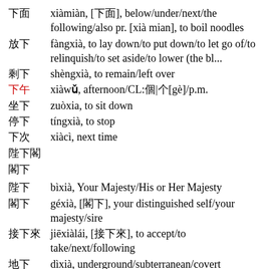下面  xiàmiàn, [下面], below/under/next/the following/also pr. [xià mian], to boil noodles
放下  fàngxià, to lay down/to put down/to let go of/to relinquish/to set aside/to lower (the bl...
剩下  shèngxià, to remain/left over
下午  xiàwǔ, afternoon/CL:個|个[gè]/p.m.
坐下  zuòxia, to sit down
停下  tíngxià, to stop
下次  xiàcì, next time
陛下
閣下
陛下  bìxià, Your Majesty/His or Her Majesty
閣下  géxià, [閣下], your distinguished self/your majesty/sire
接下來  jiēxiàlái, [接下來], to accept/to take/next/following
地下  dìxià, underground/subterranean/covert